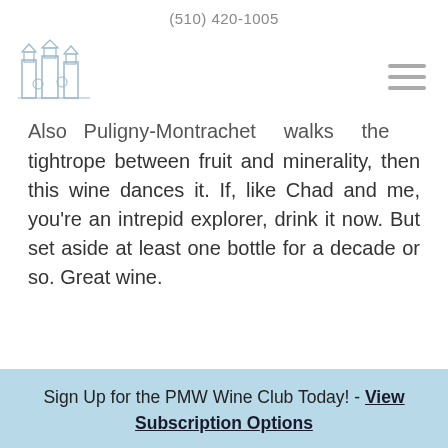(510) 420-1005
[Figure (logo): Wine shop logo with illustrated buildings/towers in light blue]
Also Puligny-Montrachet walks the tightrope between fruit and minerality, then this wine dances it. If, like Chad and me, you’re an intrepid explorer, drink it now. But set aside at least one bottle for a decade or so. Great wine.
Sign Up for the PMW Wine Club Today! - View Subscription Options